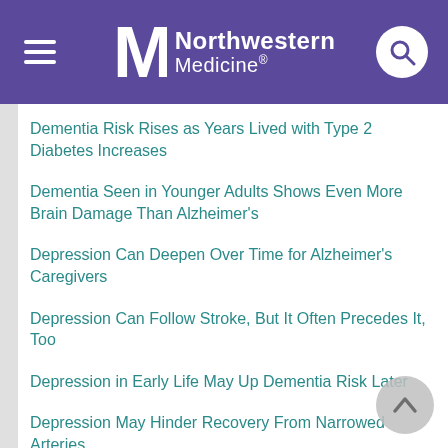[Figure (logo): Northwestern Medicine logo with hamburger menu and search button on purple header]
Dementia Risk Rises as Years Lived with Type 2 Diabetes Increases
Dementia Seen in Younger Adults Shows Even More Brain Damage Than Alzheimer's
Depression Can Deepen Over Time for Alzheimer's Caregivers
Depression Can Follow Stroke, But It Often Precedes It, Too
Depression in Early Life May Up Dementia Risk Later
Depression May Hinder Recovery From Narrowed Arteries
Depression Often Follows Stroke, and Women Are at Higher Risk